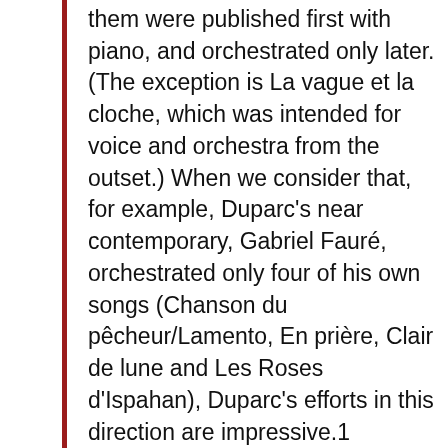them were published first with piano, and orchestrated only later. (The exception is La vague et la cloche, which was intended for voice and orchestra from the outset.) When we consider that, for example, Duparc's near contemporary, Gabriel Fauré, orchestrated only four of his own songs (Chanson du pêcheur/Lamento, En prière, Clair de lune and Les Roses d'Ispahan), Duparc's efforts in this direction are impressive.1 However, a remark by the composer in a letter to his friend, the Bordeaux-based wine merchant and musician Paul Charriol, on 23 June 1906 strongly suggests that Duparc regarded all his piano accompaniments as but a preliminary stage in the realization of an ultimately orchestral conception: „I am